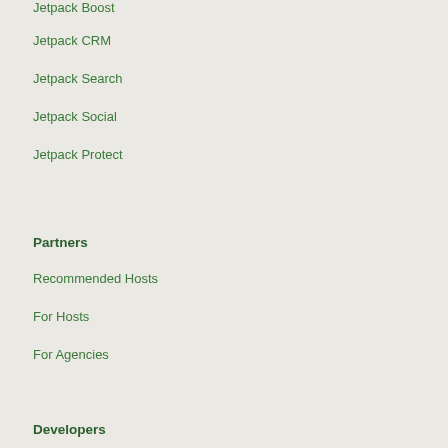Jetpack Boost
Jetpack CRM
Jetpack Search
Jetpack Social
Jetpack Protect
Partners
Recommended Hosts
For Hosts
For Agencies
Developers